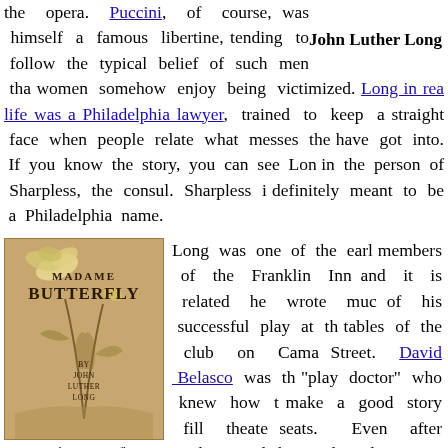the opera. Puccini, of course, was himself a famous libertine, tending to follow the typical belief of such men that women somehow enjoy being victimized. Long in real life was a Philadelphia lawyer, trained to keep a straight face when people relate what messes they have got into. If you know the story, you can see Long in the person of Sharpless, the consul. Sharpless is definitely meant to be a Philadelphia name.
John Luther Long
[Figure (illustration): Book cover of Madame Butterfly by John Luther Long, brownish-orange cover with decorative lily/lotus design]
Madame Butterfly
Long was one of the early members of the Franklin Inn and it is related he wrote much of his successful play at the tables of the club on Camac Street. David Belasco was the 'play doctor' who knew how to make a good story fill theater seats. Even after Belasco's polishing, the play came through as a portrayal of the well-born gentleman who had been trained